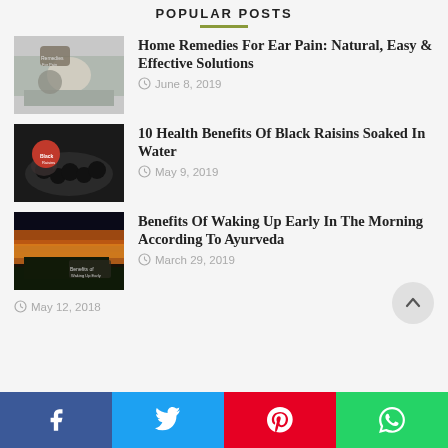POPULAR POSTS
Home Remedies For Ear Pain: Natural, Easy & Effective Solutions — June 8, 2019
10 Health Benefits Of Black Raisins Soaked In Water — May 9, 2019
Benefits Of Waking Up Early In The Morning According To Ayurveda — March 29, 2019
May 12, 2018
Facebook | Twitter | Pinterest | WhatsApp